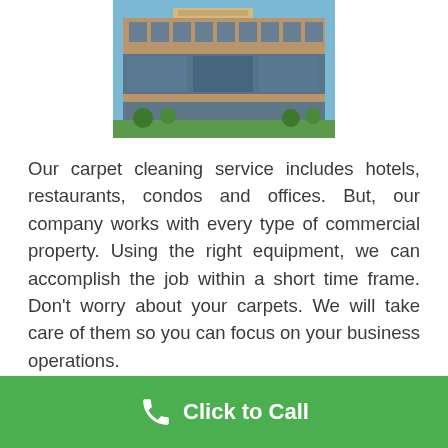[Figure (photo): Photograph of a multi-story commercial office building with brick and glass facade, green landscaping in front, blue sky background.]
Our carpet cleaning service includes hotels, restaurants, condos and offices. But, our company works with every type of commercial property. Using the right equipment, we can accomplish the job within a short time frame. Don't worry about your carpets. We will take care of them so you can focus on your business operations.
Click to Call